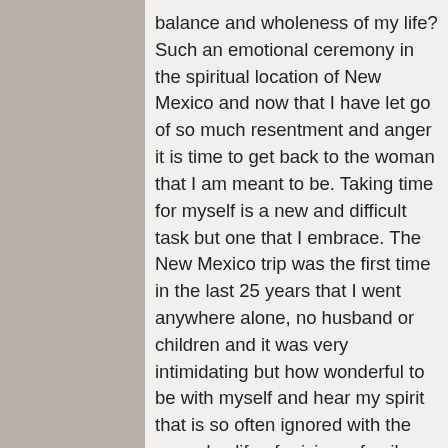balance and wholeness of my life? Such an emotional ceremony in the spiritual location of New Mexico and now that I have let go of so much resentment and anger it is time to get back to the woman that I am meant to be. Taking time for myself is a new and difficult task but one that I embrace. The New Mexico trip was the first time in the last 25 years that I went anywhere alone, no husband or children and it was very intimidating but how wonderful to be with myself and hear my spirit that is so often ignored with the everyday life of raising a family and working. I am glad to finally listen and to take the time to get back to the girl I was before and hope that by doing this can teach my children the importance of caring for themselves, to not let go of their passion and listen to their spirit. I